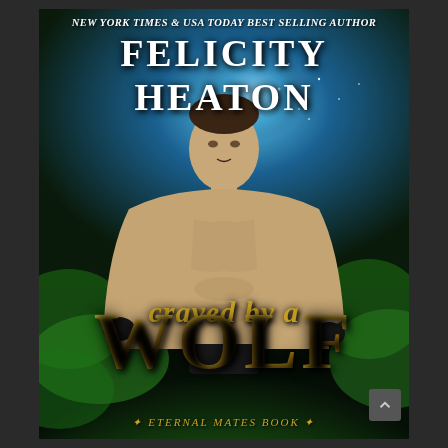[Figure (illustration): Book cover for 'Craved by a Wolf' by Felicity Heaton. Features a muscular shirtless man with dark hair against a dramatic blue and green smoky fantasy background. Blue magical light glows behind the figure at top, transitioning to green smoke at the bottom.]
NEW YORK TIMES & USA TODAY BEST SELLING AUTHOR
FELICITY HEATON
craved by a
WOLF
ETERNAL MATES BOOK